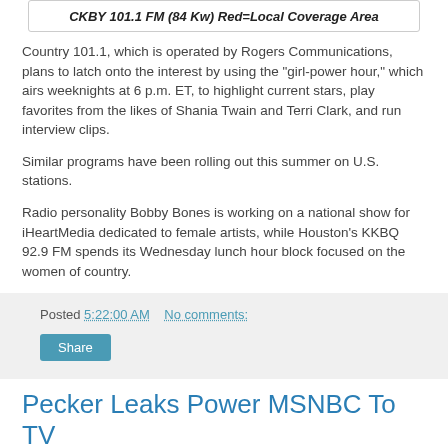CKBY 101.1 FM (84 Kw) Red=Local Coverage Area
Country 101.1, which is operated by Rogers Communications, plans to latch onto the interest by using the “girl-power hour,” which airs weeknights at 6 p.m. ET, to highlight current stars, play favorites from the likes of Shania Twain and Terri Clark, and run interview clips.
Similar programs have been rolling out this summer on U.S. stations.
Radio personality Bobby Bones is working on a national show for iHeartMedia dedicated to female artists, while Houston’s KKBQ 92.9 FM spends its Wednesday lunch hour block focused on the women of country.
Posted 5:22:00 AM   No comments:
Pecker Leaks Power MSNBC To TV